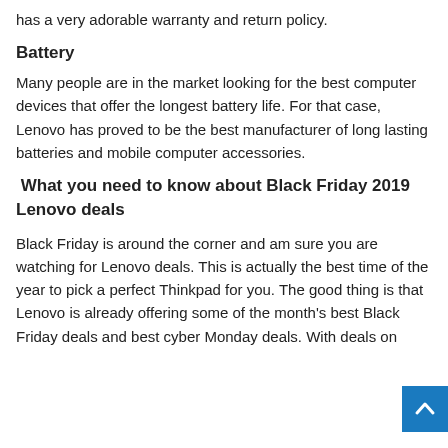has a very adorable warranty and return policy.
Battery
Many people are in the market looking for the best computer devices that offer the longest battery life. For that case, Lenovo has proved to be the best manufacturer of long lasting batteries and mobile computer accessories.
What you need to know about Black Friday 2019 Lenovo deals
Black Friday is around the corner and am sure you are watching for Lenovo deals. This is actually the best time of the year to pick a perfect Thinkpad for you. The good thing is that Lenovo is already offering some of the month's best Black Friday deals and best cyber Monday deals. With deals on